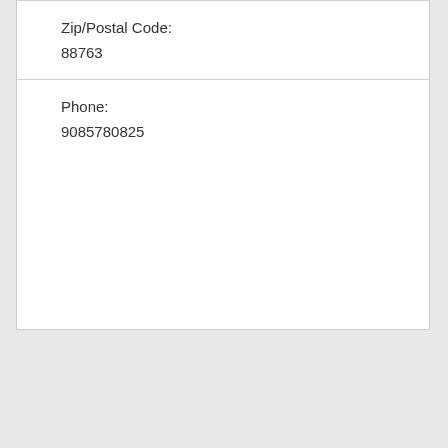Zip/Postal Code:
88763
Phone:
9085780825